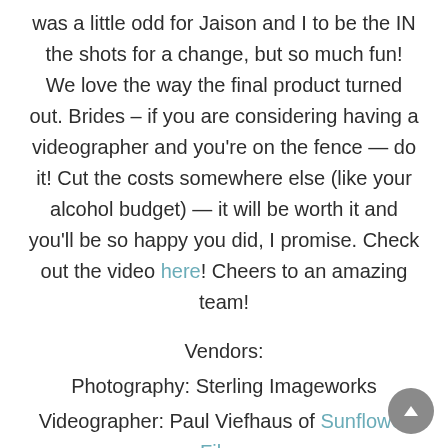was a little odd for Jaison and I to be the IN the shots for a change, but so much fun! We love the way the final product turned out. Brides – if you are considering having a videographer and you're on the fence — do it! Cut the costs somewhere else (like your alcohol budget) — it will be worth it and you'll be so happy you did, I promise. Check out the video here! Cheers to an amazing team!
Vendors:
Photography: Sterling Imageworks
Videographer: Paul Viefhaus of Sunflower Films